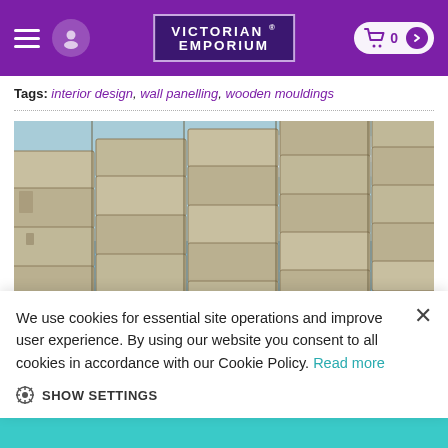VICTORIAN® EMPORIUM
Tags: interior design, wall panelling, wooden mouldings
[Figure (photo): Stone block wall photographed from a low angle against a blue sky, showing rough-cut limestone or sandstone blocks stacked in rows with mortar joints and reinforcement rods.]
We use cookies for essential site operations and improve user experience. By using our website you consent to all cookies in accordance with our Cookie Policy. Read more
SHOW SETTINGS